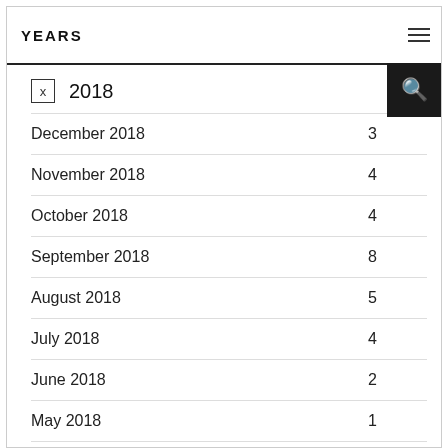YEARS
2018
December 2018  3
November 2018  4
October 2018  4
September 2018  8
August 2018  5
July 2018  4
June 2018  2
May 2018  1
April 2018  7
March 2018  4